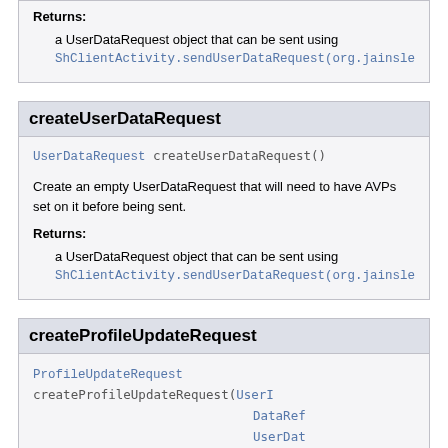Returns:
a UserDataRequest object that can be sent using ShClientActivity.sendUserDataRequest(org.jainslee.resou
createUserDataRequest
UserDataRequest createUserDataRequest()
Create an empty UserDataRequest that will need to have AVPs set on it before being sent.
Returns:
a UserDataRequest object that can be sent using ShClientActivity.sendUserDataRequest(org.jainslee.resou
createProfileUpdateRequest
ProfileUpdateRequest createProfileUpdateRequest(UserI DataRef UserDat
Create a ProfileUpdateRequest using the given parameters to populate the User-Identity, Data-Reference and User-Data AVPs.
Returns: